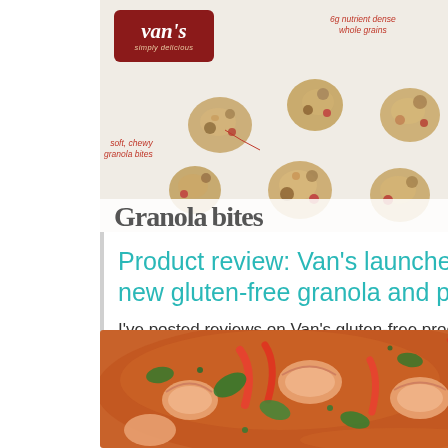[Figure (photo): Van's granola bites product photo showing granola clusters on white background with Van's logo and handwritten-style annotations including 'soft, chewy granola bites', '6g nutrient dense whole grains', 'perfect for snacking']
Product review: Van’s launches new gluten-free granola and pasta
I’ve posted reviews on Van’s gluten-free products previously, as our son absolutely loves
[Figure (photo): Close-up food photo of shrimp curry dish with spinach and red peppers in an orange-red cream sauce]